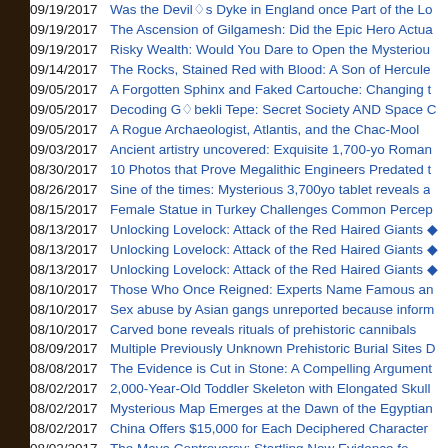09/19/2017 Was the Devil's Dyke in England once Part of the L...
09/19/2017 The Ascension of Gilgamesh: Did the Epic Hero Actua...
09/19/2017 Risky Wealth: Would You Dare to Open the Mysteriou...
09/14/2017 The Rocks, Stained Red with Blood: A Son of Hercule...
09/05/2017 A Forgotten Sphinx and Faked Cartouche: Changing t...
09/05/2017 Decoding Göbekli Tepe: Secret Society AND Space C...
09/05/2017 A Rogue Archaeologist, Atlantis, and the Chac-Mool
09/03/2017 Ancient artistry uncovered: Exquisite 1,700-yo Roman...
08/30/2017 10 Photos that Prove Megalithic Engineers Predated t...
08/26/2017 Sine of the times: Mysterious 3,700yo tablet reveals a...
08/15/2017 Female Statue in Turkey Challenges Common Percep...
08/13/2017 Unlocking Lovelock: Attack of the Red Haired Giants ...
08/13/2017 Unlocking Lovelock: Attack of the Red Haired Giants ...
08/13/2017 Unlocking Lovelock: Attack of the Red Haired Giants ...
08/10/2017 Those Who Once Reigned: Experts Name Famous an...
08/10/2017 Sex abuse by Asian gangs unreported because inform...
08/10/2017 Carved bone reveals rituals of prehistoric cannibals
08/09/2017 Multiple Previously Unknown Prehistoric Burial Sites D...
08/08/2017 The Evidence is Cut in Stone: A Compelling Argument...
08/02/2017 2,000-Year-Old Toddler Skeleton with Elongated Skull...
08/02/2017 Mysterious Map Emerges at the Dawn of the Egyptian...
08/02/2017 China Offers $15,000 for Each Deciphered Character...
08/02/2017 The Maya Controversy: Startling New Evidence fo...